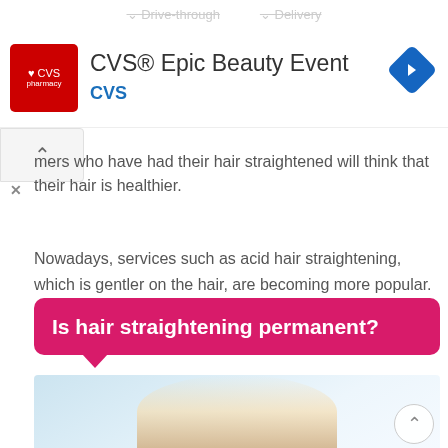Drive-through   Delivery
[Figure (screenshot): CVS Pharmacy ad banner with CVS logo and text 'CVS® Epic Beauty Event CVS' with navigation diamond icon]
mers who have had their hair straightened will think that their hair is healthier.
Nowadays, services such as acid hair straightening, which is gentler on the hair, are becoming more popular.
Is hair straightening permanent?
[Figure (photo): Blonde woman with straight hair on light blue background]